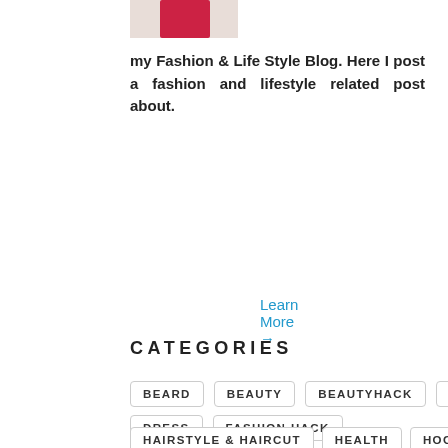[Figure (photo): Partial photo showing a person in a red outfit against a light background]
my Fashion & Life Style Blog. Here I post a fashion and lifestyle related post about.
Learn More →
CATEGORIES
BEARD
BEAUTY
BEAUTYHACK
BOOTS
DRESS
FASHION HACK
HAIRSTYLE & HAIRCUT
HEALTH
HOODIES